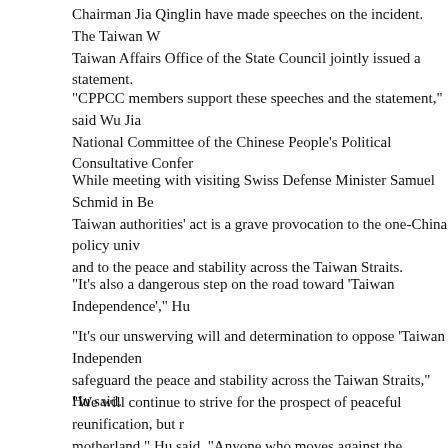Chairman Jia Qinglin have made speeches on the incident. The Taiwan W... Taiwan Affairs Office of the State Council jointly issued a statement.
"CPPCC members support these speeches and the statement," said Wu Jia... National Committee of the Chinese People's Political Consultative Confer...
While meeting with visiting Swiss Defense Minister Samuel Schmid in Be... Taiwan authorities' act is a grave provocation to the one-China policy univ... and to the peace and stability across the Taiwan Straits.
"It's also a dangerous step on the road toward 'Taiwan Independence'," Hu...
"It's our unswerving will and determination to oppose 'Taiwan Independen... safeguard the peace and stability across the Taiwan Straits," Hu said.
"We will continue to strive for the prospect of peaceful reunification, but r... motherland," Hu said. "Anyone who moves against the historical trend is o...
Wu Jianmin said national reunification is a major concern of CPPCC mem... strengthening exchanges across the Taiwan Straits during the annual sessi...